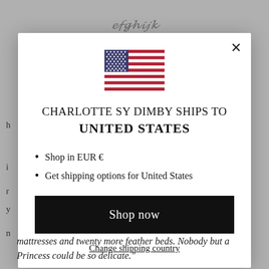[Figure (screenshot): Modal dialog overlay on a website. Contains a US flag SVG, heading text 'CHARLOTTE SY DIMBY SHIPS TO UNITED STATES', two bullet points about shopping in EUR and shipping options, a 'Shop now' button, and a 'Change shipping country' link.]
mattresses and twenty more feather beds. Nobody but a Princess could be so delicate."